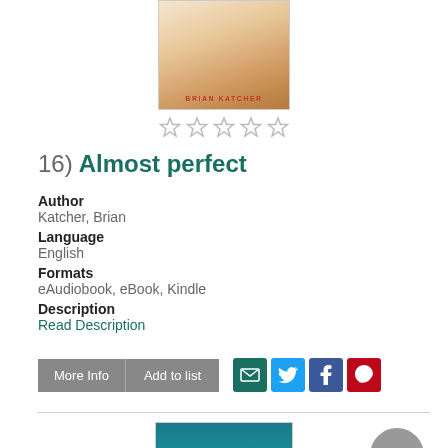[Figure (photo): Book cover for 'Almost Perfect' by Brian Katcher, showing a beige/tan background with author name in red text at bottom]
[Figure (other): Five empty star rating icons in a row]
16)  Almost perfect
Author
Katcher, Brian
Language
English
Formats
eAudiobook, eBook, Kindle
Description
Read Description
[Figure (other): Buttons: More Info | Add to list, and social sharing icons for email, Twitter, Facebook, Pinterest]
[Figure (photo): Book cover for 'The Danish Girl', showing a teal/blue background with a figure wearing a headwrap]
[Figure (other): Gray circular scroll-to-top button with upward arrow]